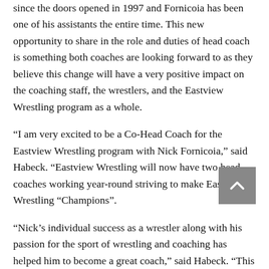since the doors opened in 1997 and Fornicoia has been one of his assistants the entire time. This new opportunity to share in the role and duties of head coach is something both coaches are looking forward to as they believe this change will have a very positive impact on the coaching staff, the wrestlers, and the Eastview Wrestling program as a whole.
“I am very excited to be a Co-Head Coach for the Eastview Wrestling program with Nick Fornicoia,” said Habeck. “Eastview Wrestling will now have two head coaches working year-round striving to make Eastview Wrestling “Champions”.
“Nick’s individual success as a wrestler along with his passion for the sport of wrestling and coaching has helped him to become a great coach,” said Habeck. “This new opportunity will also help him in becoming a great head coach.”